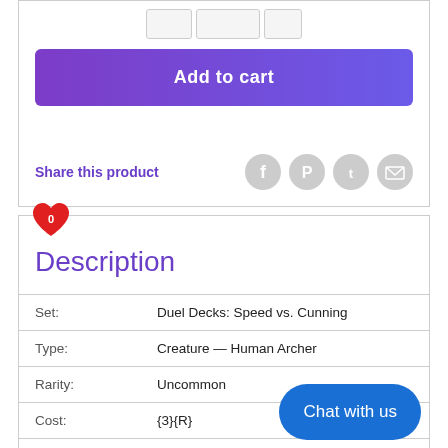[Figure (other): Add to cart button with gradient purple background]
Share this product
[Figure (other): Social share icons: Facebook, Pinterest, Twitter, Email]
Description
| Set: | Duel Decks: Speed vs. Cunning |
| Type: | Creature — Human Archer |
| Rarity: | Uncommon |
| Cost: | {3}{R} |
Raid — When Mardu Heart-Piercer enters the battlefield, if you